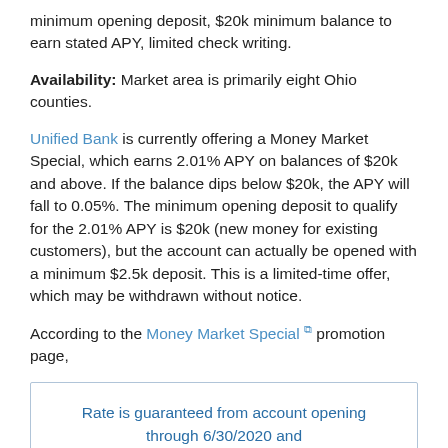minimum opening deposit, $20k minimum balance to earn stated APY, limited check writing.
Availability: Market area is primarily eight Ohio counties.
Unified Bank is currently offering a Money Market Special, which earns 2.01% APY on balances of $20k and above. If the balance dips below $20k, the APY will fall to 0.05%. The minimum opening deposit to qualify for the 2.01% APY is $20k (new money for existing customers), but the account can actually be opened with a minimum $2.5k deposit. This is a limited-time offer, which may be withdrawn without notice.
According to the Money Market Special promotion page,
Rate is guaranteed from account opening through 6/30/2020 and will revert to then-current Money Market Index rate on 7/1/2020.
It's rare to see such a long guarantee period. I have to admit,